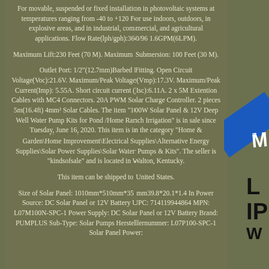For movable, suspended or fixed installation in photovoltaic systems at temperatures ranging from -40 to +120 For use indoors, outdoors, in explosive areas, and in industrial, commercial, and agricultural applications. Flow Rate(lph/gph):360/96 1.6GPM(6LPM).
Maximum Lift:230 Feet (70 M). Maximum Submersion: 100 Feet (30 M).
Outlet Port: 1/2"(12.7mm)Barbed Fitting. Open Circuit Voltage(Voc):21.6V. Maximum/Peak Voltage(Vmp):17.3V. Maximum/Peak Current(Imp): 5.55A. Short circuit current (Isc):6.11A. 2 x 5M Extention Cables with MC4 Connectors. 20A PWM Solar Charge Controller. 2 pieces 5m(16.4ft) 4mm² Solar Cables. The item "100W Solar Panel & 12V Deep Well Water Pump Kits for Pond /Home Ranch Irrigation" is in sale since Tuesday, June 16, 2020. This item is in the category "Home & Garden\Home Improvement\Electrical Supplies\Alternative Energy Supplies\Solar Power Supplies\Solar Water Pumps & Kits". The seller is "kindsofsale" and is located in Walton, Kentucky.
This item can be shipped to United States.
Size of Solar Panel: 1010mm*510mm*35 mm39.8*20.1*1.4 In Power Source: DC Solar Panel or 12V Battery UPC: 714119944864 MPN: L07M100N-SPC-1 Power Supply: DC Solar Panel or 12V Battery Brand: PUMPLUS Sub-Type: Solar Pumps Herstellernummer: L07P100-SPC-1 Solar Panel Power: